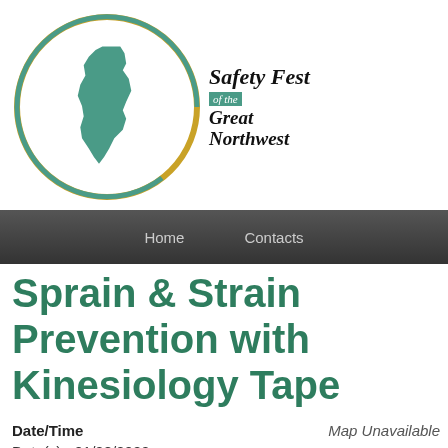[Figure (logo): Safety Fest of the Great Northwest logo — circular emblem with teal Idaho state silhouette, gold outer ring, teal inner ring, with bold italic text 'Safety Fest of the Great Northwest']
Home    Contacts
Sprain & Strain Prevention with Kinesiology Tape
Date/Time
Date(s) - 01/28/2020
1:00 pm - 3:00 pm
Map Unavailable